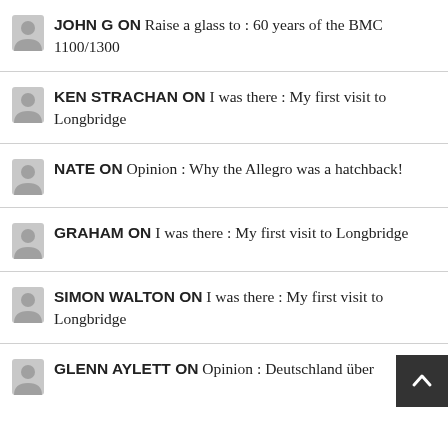JOHN G ON Raise a glass to : 60 years of the BMC 1100/1300
KEN STRACHAN ON I was there : My first visit to Longbridge
NATE ON Opinion : Why the Allegro was a hatchback!
GRAHAM ON I was there : My first visit to Longbridge
SIMON WALTON ON I was there : My first visit to Longbridge
GLENN AYLETT ON Opinion : Deutschland über